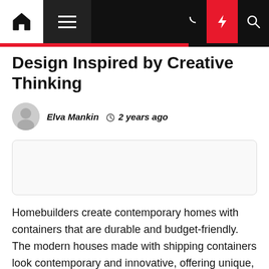Navigation bar with home, menu, moon, lightning, search icons
Design Inspired by Creative Thinking
Elva Mankin  2 years ago
[Figure (other): Advertisement placeholder box]
Homebuilders create contemporary homes with containers that are durable and budget-friendly. The modern houses made with shipping containers look contemporary and innovative, offering unique, affordable, and comfortable residences. First-time homebuilders Zack and Brie Smithey triumphed against the odds to create a metal masterpiece of the container home, bringing them a [...]